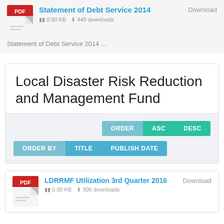Statement of Debt Service 2014
0.00 KB   449 downloads
Statement of Debt Service 2014 ...
Local Disaster Risk Reduction and Management Fund
ORDER  ASC  DESC
ORDER BY  TITLE  PUBLISH DATE
LDRRMF Utilization 3rd Quarter 2016
0.00 KB   306 downloads